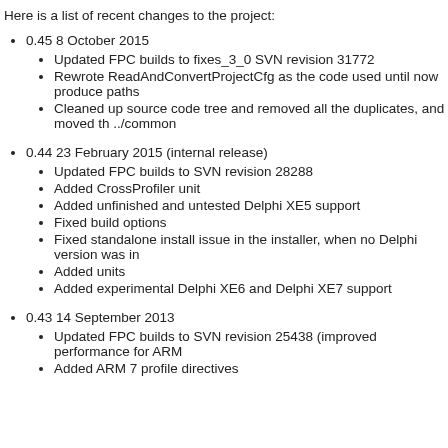Here is a list of recent changes to the project:
0.45 8 October 2015
Updated FPC builds to fixes_3_0 SVN revision 31772
Rewrote ReadAndConvertProjectCfg as the code used until now produce paths
Cleaned up source code tree and removed all the duplicates, and moved th ../common
0.44 23 February 2015 (internal release)
Updated FPC builds to SVN revision 28288
Added CrossProfiler unit
Added unfinished and untested Delphi XE5 support
Fixed build options
Fixed standalone install issue in the installer, when no Delphi version was in
Added units
Added experimental Delphi XE6 and Delphi XE7 support
0.43 14 September 2013
Updated FPC builds to SVN revision 25438 (improved performance for ARM
Added ARM 7 profile directives